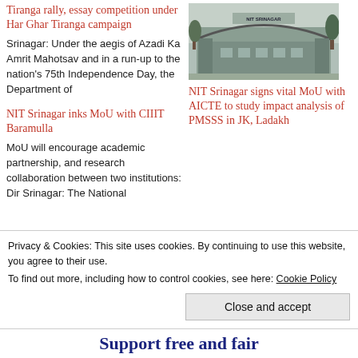Tiranga rally, essay competition under Har Ghar Tiranga campaign
Srinagar: Under the aegis of Azadi Ka Amrit Mahotsav and in a run-up to the nation's 75th Independence Day, the Department of
[Figure (photo): Exterior photo of NIT Srinagar building with arch gate and trees]
NIT Srinagar signs vital MoU with AICTE to study impact analysis of PMSSS in JK, Ladakh
NIT Srinagar inks MoU with CIIIT Baramulla
MoU will encourage academic partnership, and research collaboration between two institutions: Dir Srinagar: The National
Privacy & Cookies: This site uses cookies. By continuing to use this website, you agree to their use.
To find out more, including how to control cookies, see here: Cookie Policy
Close and accept
Support free and fair